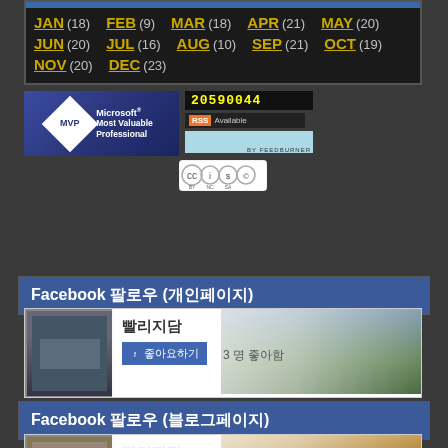JAN(18) FEB(9) MAR(18) APR(21) MAY(20) JUN(20) JUL(16) AUG(10) SEP(21) OCT(19) NOV(20) DEC(23)
[Figure (logo): Microsoft MVP - Most Valuable Professional badge]
[Figure (infographic): Counter showing 20590044, RSS Available badge, FeedBurner subscription box]
[Figure (logo): Creative Commons BY NC SA license badge]
Facebook 팔로우 (개인페이지)
[Figure (screenshot): Facebook page widget with mountain background photo, page name in Korean, Like button, 3명 좋아함]
Facebook 팔로우 (블로그페이지)
[Figure (screenshot): Facebook page widget with orange/brown background photo, page name in Korean, Like button]